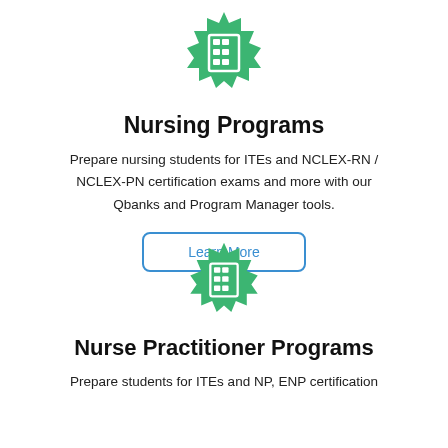[Figure (illustration): Green badge/seal icon with a building/grid icon in white on it]
Nursing Programs
Prepare nursing students for ITEs and NCLEX-RN / NCLEX-PN certification exams and more with our Qbanks and Program Manager tools.
Learn More
[Figure (illustration): Green badge/seal icon with a building/grid icon in white on it]
Nurse Practitioner Programs
Prepare students for ITEs and NP, ENP certification